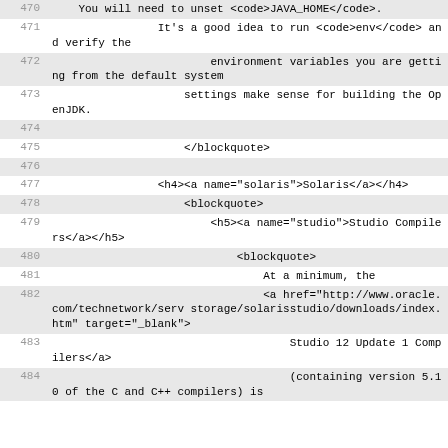470    You will need to unset <code>JAVA_HOME</code>.
471    It's a good idea to run <code>env</code> and verify the
472    environment variables you are getting from the default system
473    settings make sense for building the OpenJDK.
474
475    </blockquote>
476
477    <h4><a name="solaris">Solaris</a></h4>
478    <blockquote>
479    <h5><a name="studio">Studio Compilers</a></h5>
480    <blockquote>
481    At a minimum, the
482    <a href="http://www.oracle.com/technetwork/serverstorage/solarisstudio/downloads/index.htm" target="_blank">
483    Studio 12 Update 1 Compilers</a>
484    (containing version 5.10 of the C and C++ compilers) is